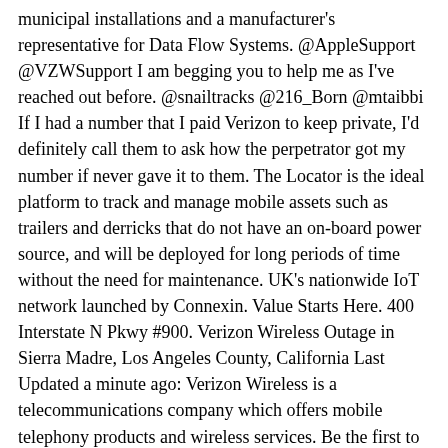municipal installations and a manufacturer's representative for Data Flow Systems. @AppleSupport @VZWSupport I am begging you to help me as I've reached out before. @snailtracks @216_Born @mtaibbi If I had a number that I paid Verizon to keep private, I'd definitely call them to ask how the perpetrator got my number if never gave it to them. The Locator is the ideal platform to track and manage mobile assets such as trailers and derricks that do not have an on-board power source, and will be deployed for long periods of time without the need for maintenance. UK's nationwide IoT network launched by Connexin. Value Starts Here. 400 Interstate N Pkwy #900. Verizon Wireless Outage in Sierra Madre, Los Angeles County, California Last Updated a minute ago: Verizon Wireless is a telecommunications company which offers mobile telephony products and wireless services. Be the first to hear about our latest offers and discounts! Sierra Wireless Enables Telematics Service Providers To Quickly and Cost-Effectively Connect Fleets to the Cloud Start with Sierra to learn how our IoT solutions enable you to deploy feel telematics systems that allow you to unlock value in today's connected economy. never again @Verizon @VerizonSupport. The RV50 was capable of withstanding 5V brownouts and -600 to 200 VDC spikes. @AsurionCares and @ATT y'all are making each other look bad. Sierra Wireless, has announced the launch of AirLink® Enterprise Connect, a first-of-its-kind bundled solution for retail and branch locations in the